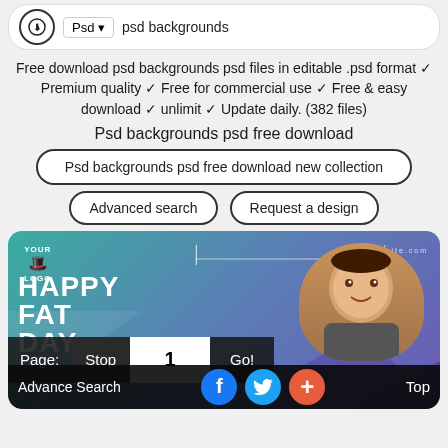Psd   psd backgrounds
Free download psd backgrounds psd files in editable .psd format ✓ Premium quality ✓ Free for commercial use ✓ Free & easy download ✓ unlimit ✓ Update daily. (382 files)
Psd backgrounds psd free download
Psd backgrounds psd free download new collection
Advanced search   Request a design
[Figure (screenshot): Father's Day promotional banner with baby photo, YOUR LOGO text, HAPPY FATHER'S DAY text, teal/purple gradient background, pagination bar with Page: Stop 1 Go!, and bottom bar with Advance Search, social icons (f, bird, +), and Top button]